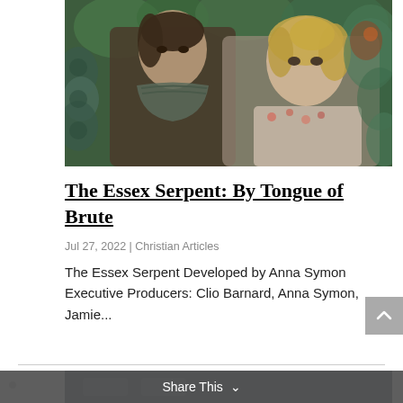[Figure (photo): Promotional photo for The Essex Serpent TV show showing a man with dark hair wearing a scarf and a blonde woman in period costume against a decorative botanical background]
The Essex Serpent: By Tongue of Brute
Jul 27, 2022 | Christian Articles
The Essex Serpent Developed by Anna Symon Executive Producers: Clio Barnard, Anna Symon, Jamie...